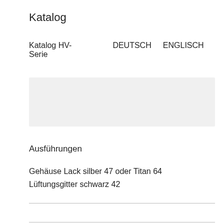Katalog
| Katalog HV-Serie | DEUTSCH | ENGLISCH |
[Figure (other): Grey placeholder box]
Ausführungen
Gehäuse Lack silber 47 oder Titan 64
Lüftungsgitter schwarz 42